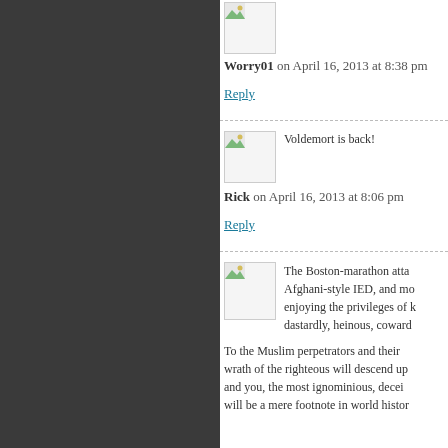Worry01 on April 16, 2013 at 8:38 pm
Reply
Voldemort is back!
Rick on April 16, 2013 at 8:06 pm
Reply
The Boston-marathon atta... Afghani-style IED, and mo... enjoying the privileges of k... dastardly, heinous, coward...
To the Muslim perpetrators and their... wrath of the righteous will descend up... and you, the most ignominious, decei... will be a mere footnote in world histor...